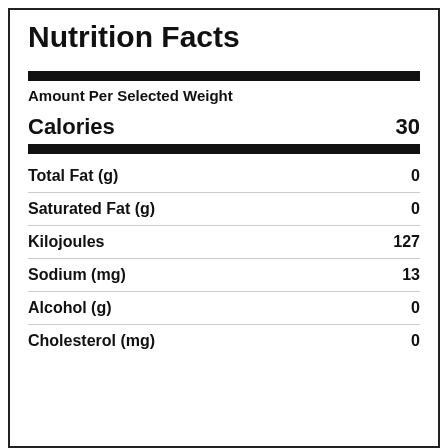Nutrition Facts
Amount Per Selected Weight
| Nutrient | Amount |
| --- | --- |
| Calories | 30 |
| Total Fat (g) | 0 |
| Saturated Fat (g) | 0 |
| Kilojoules | 127 |
| Sodium (mg) | 13 |
| Alcohol (g) | 0 |
| Cholesterol (mg) | 0 |